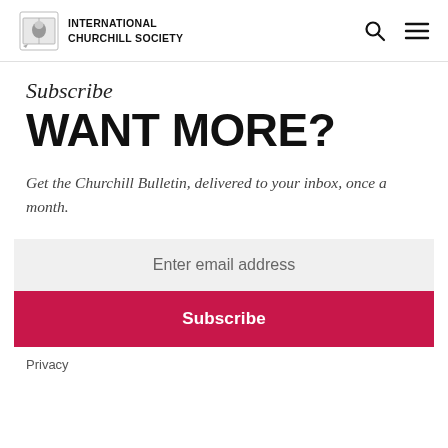INTERNATIONAL CHURCHILL SOCIETY
Subscribe
WANT MORE?
Get the Churchill Bulletin, delivered to your inbox, once a month.
Enter email address
Subscribe
Privacy